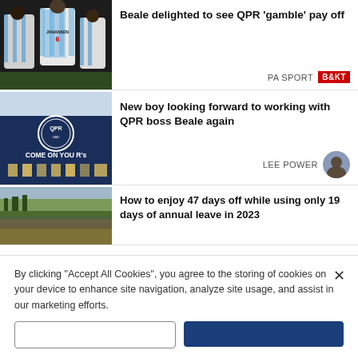[Figure (photo): QPR footballers celebrating on a pitch, blue and white striped jerseys, player with JOHANSEN number 6 visible]
Beale delighted to see QPR 'gamble' pay off
PA SPORT
[Figure (photo): QPR stadium exterior at night, blue wall with logo and COME ON YOU R's text]
New boy looking forward to working with QPR boss Beale again
LEE POWER
[Figure (photo): Aerial view of a racecourse or stadium with crowd and green landscape]
How to enjoy 47 days off while using only 19 days of annual leave in 2023
By clicking “Accept All Cookies”, you agree to the storing of cookies on your device to enhance site navigation, analyze site usage, and assist in our marketing efforts.